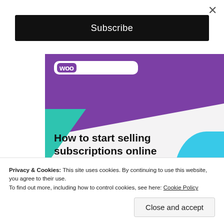×
Subscribe
[Figure (screenshot): WooCommerce promotional banner showing 'How to start selling subscriptions online' with a purple diagonal header, teal triangle, light blue arc, WooCommerce logo, and a purple 'Start a new store' button]
Privacy & Cookies: This site uses cookies. By continuing to use this website, you agree to their use.
To find out more, including how to control cookies, see here: Cookie Policy
Close and accept